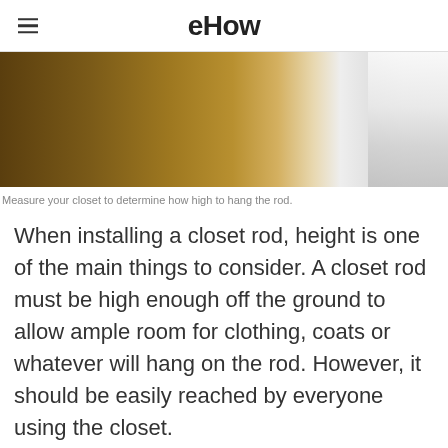eHow
[Figure (photo): A closet with wooden panels and a white garment hanging on a rod, partially visible.]
Measure your closet to determine how high to hang the rod.
When installing a closet rod, height is one of the main things to consider. A closet rod must be high enough off the ground to allow ample room for clothing, coats or whatever will hang on the rod. However, it should be easily reached by everyone using the closet.
Advertisement